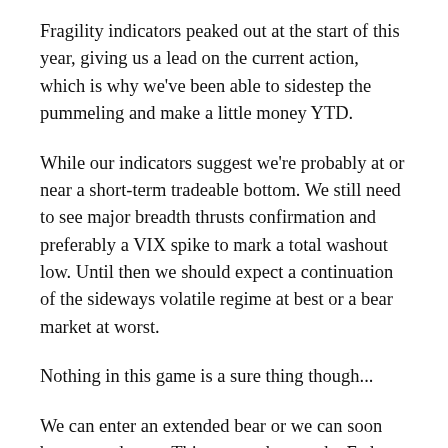Fragility indicators peaked out at the start of this year, giving us a lead on the current action, which is why we've been able to sidestep the pummeling and make a little money YTD.
While our indicators suggest we're probably at or near a short-term tradeable bottom. We still need to see major breadth thrusts confirmation and preferably a VIX spike to mark a total washout low. Until then we should expect a continuation of the sideways volatile regime at best or a bear market at worst.
Nothing in this game is a sure thing though...
We can enter an extended bear or we can soon bottom and run... Things can change, the Fed can flip, the dollar can rip, inflation can come down or shoot up... in macro environments full of noise, as this one very much is, we